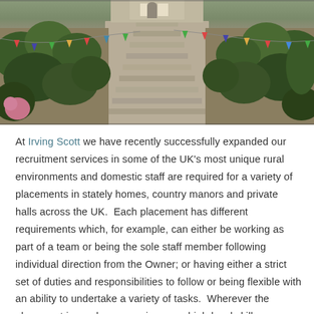[Figure (photo): Photograph of terraced stone steps leading up through a lush garden with green plants, flowers, and colourful bunting flags strung across the scene. A building is visible at the top of the steps.]
At Irving Scott we have recently successfully expanded our recruitment services in some of the UK's most unique rural environments and domestic staff are required for a variety of placements in stately homes, country manors and private halls across the UK.  Each placement has different requirements which, for example, can either be working as part of a team or being the sole staff member following individual direction from the Owner; or having either a strict set of duties and responsibilities to follow or being flexible with an ability to undertake a variety of tasks.  Wherever the placement is, each one requires very high-level skills